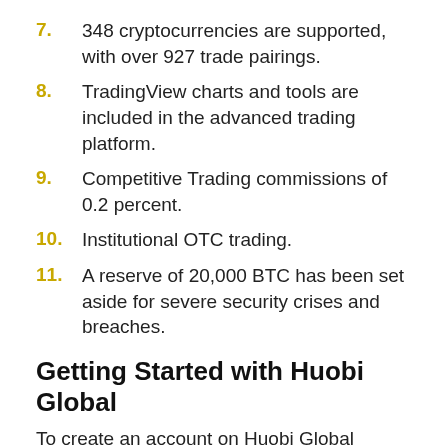7.  348 cryptocurrencies are supported, with over 927 trade pairings.
8.  TradingView charts and tools are included in the advanced trading platform.
9.  Competitive Trading commissions of 0.2 percent.
10.  Institutional OTC trading.
11.  A reserve of 20,000 BTC has been set aside for severe security crises and breaches.
Getting Started with Huobi Global
To create an account on Huobi Global